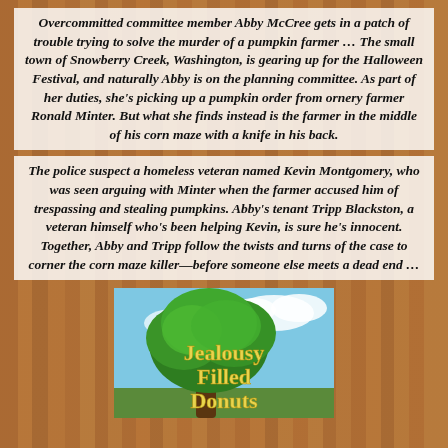Overcommitted committee member Abby McCree gets in a patch of trouble trying to solve the murder of a pumpkin farmer … The small town of Snowberry Creek, Washington, is gearing up for the Halloween Festival, and naturally Abby is on the planning committee. As part of her duties, she's picking up a pumpkin order from ornery farmer Ronald Minter. But what she finds instead is the farmer in the middle of his corn maze with a knife in his back.
The police suspect a homeless veteran named Kevin Montgomery, who was seen arguing with Minter when the farmer accused him of trespassing and stealing pumpkins. Abby's tenant Tripp Blackston, a veteran himself who's been helping Kevin, is sure he's innocent. Together, Abby and Tripp follow the twists and turns of the case to corner the corn maze killer—before someone else meets a dead end …
[Figure (illustration): Book cover image for 'Jealousy Filled Donuts' showing a tree with green leaves against a blue and white sky with yellow title text]